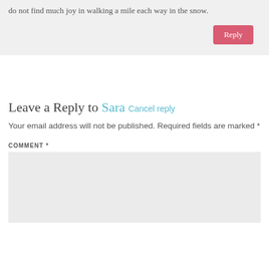do not find much joy in walking a mile each way in the snow.
Reply
Leave a Reply to Sara Cancel reply
Your email address will not be published. Required fields are marked *
COMMENT *